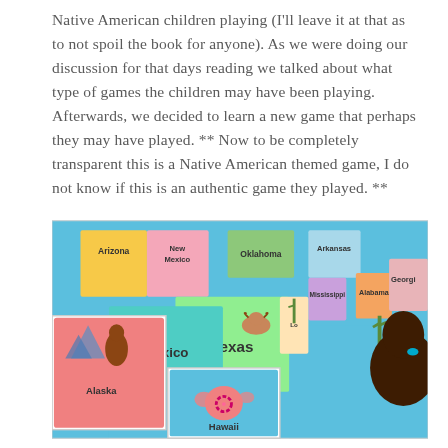Native American children playing (I'll leave it at that as to not spoil the book for anyone). As we were doing our discussion for that days reading we talked about what type of games the children may have been playing. Afterwards, we decided to learn a new game that perhaps they may have played. ** Now to be completely transparent this is a Native American themed game, I do not know if this is an authentic game they played. **
[Figure (photo): A child with dark hair in a ponytail (blue hair tie) looking at a colorful illustrated map showing US states including Arizona, New Mexico, Oklahoma, Arkansas, Mississippi, Alabama, Georgia, Texas, Mexico, Alaska, Canada, and Hawaii, with cartoon illustrations on each state.]